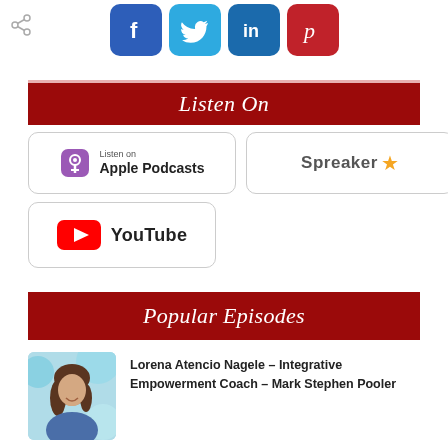[Figure (infographic): Social media share icons row: Facebook (blue), Twitter (light blue), LinkedIn (dark blue), Pinterest (red)]
Listen On
[Figure (logo): Listen on Apple Podcasts button with podcast icon]
[Figure (logo): Spreaker star logo button]
[Figure (logo): YouTube logo button]
Popular Episodes
[Figure (photo): Headshot photo of Lorena Atencio Nagele]
Lorena Atencio Nagele – Integrative Empowerment Coach – Mark Stephen Pooler